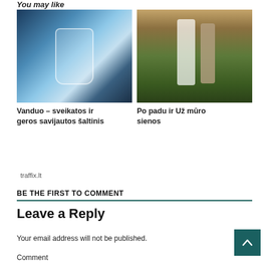You may like
[Figure (photo): Water being poured into a glass, water splashing on a dark wet surface]
Vanduo – sveikatos ir geros savijautos šaltinis
[Figure (photo): A couple walking in a field, man in white shirt carrying a basket, woman carrying a red bag]
Po padu ir Už mūro sienos
traffix.lt
BE THE FIRST TO COMMENT
Leave a Reply
Your email address will not be published.
Comment